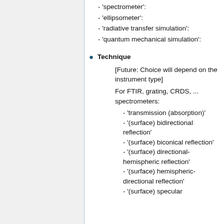- 'spectrometer':
- 'ellipsometer':
- 'radiative transfer simulation':
- 'quantum mechanical simulation':
Technique
[Future: Choice will depend on the instrument type]
For FTIR, grating, CRDS, ... spectrometers:
- 'transmission (absorption)'
- '(surface) bidirectional reflection'
- '(surface) biconical reflection'
- '(surface) directional-hemispheric reflection'
- '(surface) hemispheric-directional reflection'
- '(surface) specular